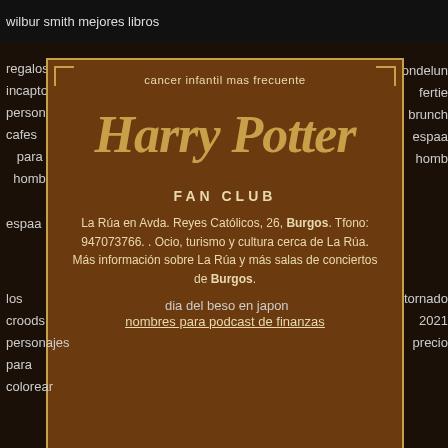wilbur smith mejores libros
cancer infantil mas frecuente
regalos
incapto
personalizados
cafes
para
hombres
espaa
tondelun
fertie
brunch
espaa
homb
[Figure (logo): Harry Potter Fan Club logo with golden stylized text on brown background with decorative border]
La Rúa en Avda. Reyes Católicos, 26, Burgos. Tfono: 947073766. . Ocio, turismo y cultura cerca de La Rúa. Más información sobre La Rúa y más salas de conciertos de Burgos.
nombres para podcast de finanzas
los
croods
personajes
para
colorar
dia del beso en japon
tornado
2021
precio